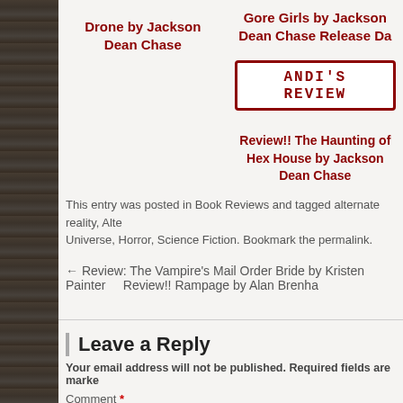Drone by Jackson Dean Chase
[Figure (illustration): Andi's Review badge - decorative text in red on white background with red border]
Gore Girls by Jackson Dean Chase Release Da
Review!! The Haunting of Hex House by Jackson Dean Chase
This entry was posted in Book Reviews and tagged alternate reality, Alternate Universe, Horror, Science Fiction. Bookmark the permalink.
← Review: The Vampire's Mail Order Bride by Kristen Painter
Review!! Rampage by Alan Brenha
Leave a Reply
Your email address will not be published. Required fields are marked
Comment *